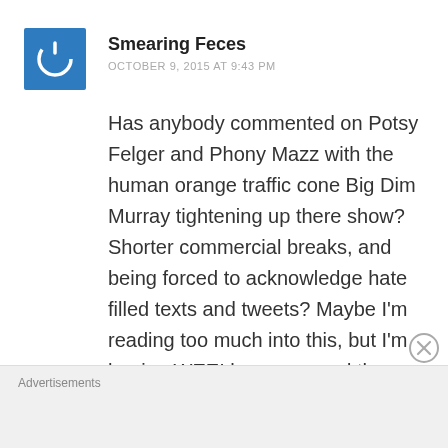[Figure (illustration): Blue square avatar icon with a power button symbol in white]
Smearing Feces
OCTOBER 9, 2015 AT 9:43 PM
Has anybody commented on Potsy Felger and Phony Mazz with the human orange traffic cone Big Dim Murray tightening up there show? Shorter commercial breaks, and being forced to acknowledge hate filled texts and tweets? Maybe I'm reading too much into this, but I'm hoping WEEI has narrowed the
Advertisements